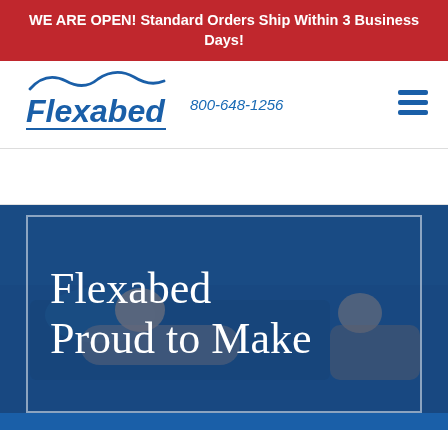WE ARE OPEN! Standard Orders Ship Within 3 Business Days!
[Figure (logo): Flexabed company logo with wave design above the text]
800-648-1256
[Figure (other): Hamburger menu icon (three horizontal lines)]
[Figure (photo): Blue-tinted photo of a person in a bed, with overlay box border]
Flexabed Proud to Make